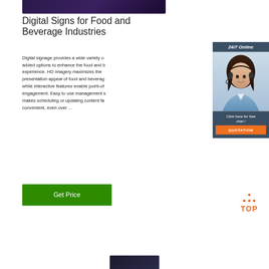[Figure (photo): Partial dark purple/navy header image at the top of the page]
Digital Signs for Food and Beverage Industries
Digital signage provides a wide variety of added options to enhance the food and beverage experience. HD imagery maximizes the presentation appeal of food and beverages while interactive features enable point-of-sale engagement. Easy to use management software makes scheduling or updating content fast and convenient, even over ...
[Figure (infographic): 24/7 Online chat widget with woman wearing headset, 'Click here for free chat!' text, and orange QUOTATION button]
[Figure (other): Green Get Price button]
[Figure (logo): Orange TOP logo with dot triangle above text]
[Figure (photo): Partial dark image at bottom of page]